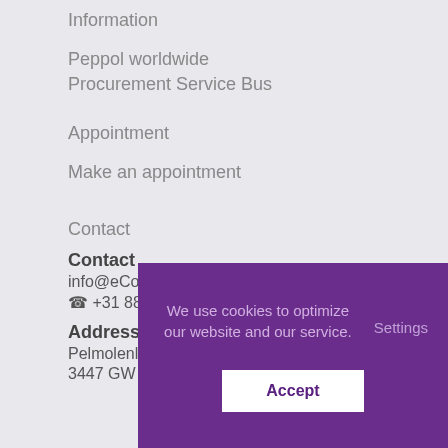Information
Peppol worldwide
Procurement Service Bus
Appointment
Make an appointment
Contact
Contact
info@eCo...
☎ +31 88...
Address
Pelmolenl...
3447 GW Woerden
We use cookies to optimize our website and our service.  Settings  Accept